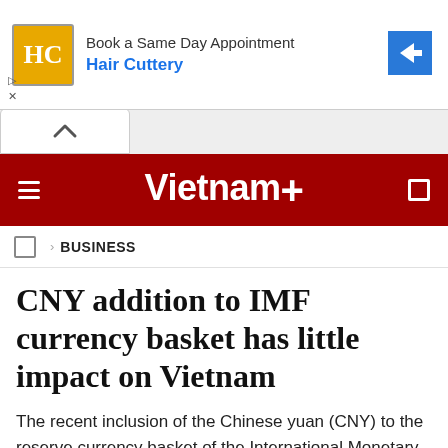[Figure (screenshot): Advertisement banner for Hair Cuttery with yellow HC logo, 'Book a Same Day Appointment' text, and blue arrow icon]
[Figure (screenshot): Scroll-up chevron button area in gray]
Vietnam+
BUSINESS
CNY addition to IMF currency basket has little impact on Vietnam
The recent inclusion of the Chinese yuan (CNY) to the reserve currency basket of the International Monetary Fund (IMF) will not have any significant impacts on Vietnam's economy, experts said.